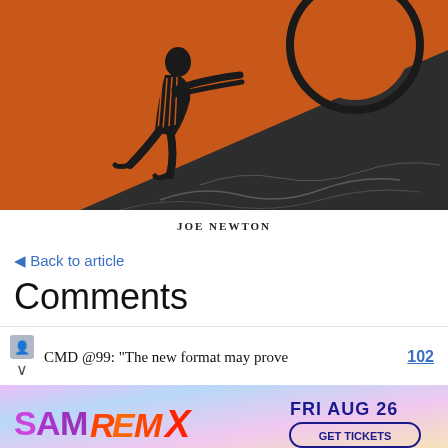[Figure (illustration): Greek black-figure style illustration of a robed figure pushing a large circular boulder up a rocky hillside, on an orange-terracotta background — depicting Sisyphus from mythology.]
JOE NEWTON
Back to article
Comments
CMD @99: "The new format may prove
102
[Figure (other): Advertisement banner for SAM REMIX event, FRI AUG 26, with GET TICKETS button. Colorful gradient background.]